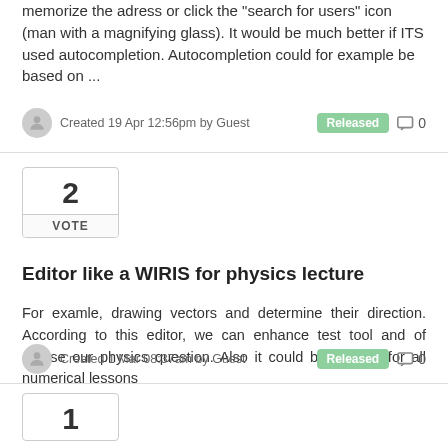memorize the adress or click the "search for users" icon (man with a magnifying glass). It would be much better if ITS used autocompletion. Autocompletion could for example be based on ...
Created 19 Apr 12:56pm by Guest
Released
0
2
VOTE
Editor like a WIRIS for physics lecture
For examle, drawing vectors and determine their direction. According to this editor, we can enhance test tool and of course our physics question. Also it could be thought for all numerical lessons
Created 1 Mar 08:37am by Guest
Released
0
1
VOTE